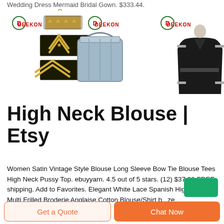Wedding Dress Mermaid Bridal Gown. $333.44.
[Figure (photo): Three product images with DEEKON logo: military rank patches (gold chevrons, stars on dark background), a silver military mess tin/container, and a black military-style women's uniform dress on mannequin.]
High Neck Blouse | Etsy
Women Satin Vintage Style Blouse Long Sleeve Bow Tie Blouse Tees High Neck Pussy Top. ebuyyarn. 4.5 out of 5 stars. (12) $37.99 FREE shipping. Add to Favorites. Elegant White Lace Spanish High Neck Multi Frilled Broderie Anglaise Cotton Blouse/Shirt b...ze
Get a Quote
Chat Now